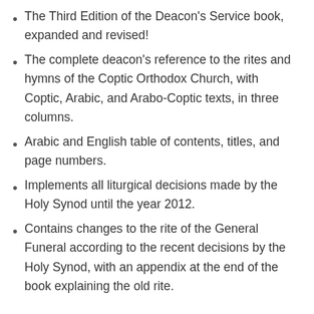The Third Edition of the Deacon's Service book, expanded and revised!
The complete deacon's reference to the rites and hymns of the Coptic Orthodox Church, with Coptic, Arabic, and Arabo-Coptic texts, in three columns.
Arabic and English table of contents, titles, and page numbers.
Implements all liturgical decisions made by the Holy Synod until the year 2012.
Contains changes to the rite of the General Funeral according to the recent decisions by the Holy Synod, with an appendix at the end of the book explaining the old rite.